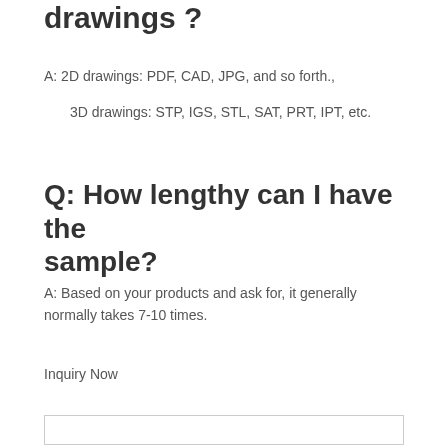drawings ?
A: 2D drawings: PDF, CAD, JPG, and so forth.,
3D drawings: STP, IGS, STL, SAT, PRT, IPT, etc.
Q: How lengthy can I have the sample?
A: Based on your products and ask for, it generally normally takes 7-10 times.
Inquiry Now